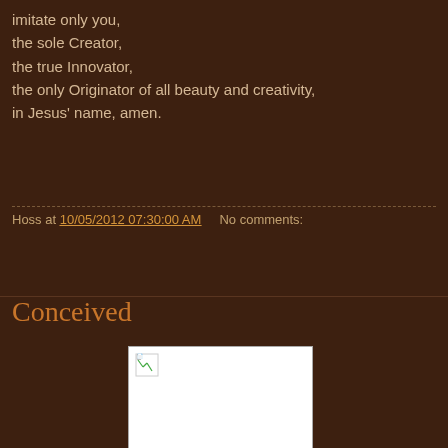imitate only you,
the sole Creator,
the true Innovator,
the only Originator of all beauty and creativity,
in Jesus' name, amen.
Hoss at 10/05/2012 07:30:00 AM   No comments:
Conceived
[Figure (photo): Broken image placeholder - white rectangle with broken image icon in top left corner]